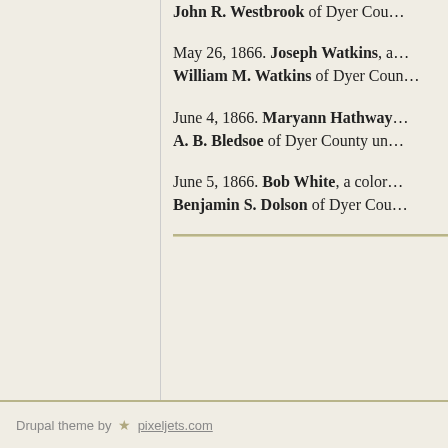John R. Westbrook of Dyer County
May 26, 1866. Joseph Watkins, a ... William M. Watkins of Dyer County
June 4, 1866. Maryann Hathway ... A. B. Bledsoe of Dyer County un...
June 5, 1866. Bob White, a color... Benjamin S. Dolson of Dyer Cou...
Drupal theme by ★ pixeljets.com